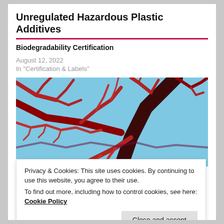Unregulated Hazardous Plastic Additives
Biodegradability Certification
August 12, 2022
In "Certification & Labels"
[Figure (photo): Close-up photo of red branching vascular or coral-like structures against a blue background]
Privacy & Cookies: This site uses cookies. By continuing to use this website, you agree to their use.
To find out more, including how to control cookies, see here: Cookie Policy
June 6, 2022
In "Reports & Studies"